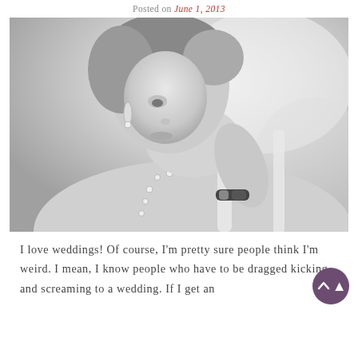Posted on June 1, 2013
[Figure (photo): Black and white portrait photograph of a bride adjusting her earring, wearing pearl jewelry and a bracelet, in a wedding dress]
I love weddings! Of course, I'm pretty sure people think I'm weird. I mean, I know people who have to be dragged kicking and screaming to a wedding. If I get an